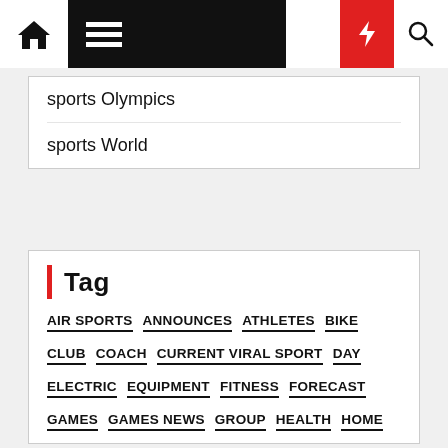Navigation bar with home, menu, moon, lightning, search icons
sports Olympics
sports World
Tag
AIR SPORTS
ANNOUNCES
ATHLETES
BIKE
CLUB
COACH
CURRENT VIRAL SPORT
DAY
ELECTRIC
EQUIPMENT
FITNESS
FORECAST
GAMES
GAMES NEWS
GROUP
HEALTH
HOME
INDOOR SPORTS
JOBS
LANES
LOCAL
MARKET
MENTAL
MOTORCYCLE
NEWS
OLYMPIC
OLYMPICS
OUTDOOR SPORTS
PLAYERS
REACTS